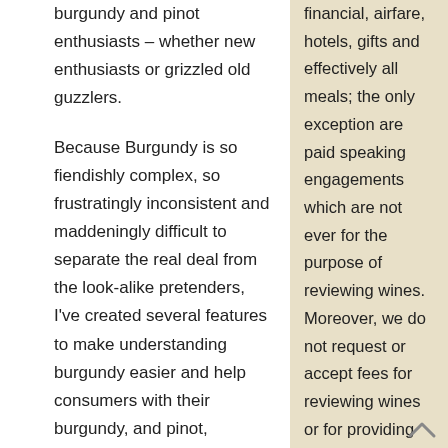burgundy and pinot enthusiasts – whether new enthusiasts or grizzled old guzzlers.
Because Burgundy is so fiendishly complex, so frustratingly inconsistent and maddeningly difficult to separate the real deal from the look-alike pretenders, I've created several features to make understanding burgundy easier and help consumers with their burgundy, and pinot, purchases. I've also included suggested drinking windows.
financial, airfare, hotels, gifts and effectively all meals; the only exception are paid speaking engagements which are not ever for the purpose of reviewing wines. Moreover, we do not request or accept fees for reviewing wines or for providing those reviews to producers once